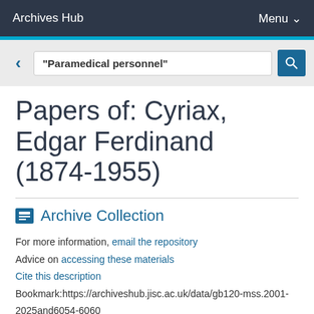Archives Hub   Menu
"Paramedical personnel"
Papers of: Cyriax, Edgar Ferdinand (1874-1955)
Archive Collection
For more information, email the repository
Advice on accessing these materials
Cite this description
Bookmark:https://archiveshub.jisc.ac.uk/data/gb120-mss.2001-2025and6054-6060